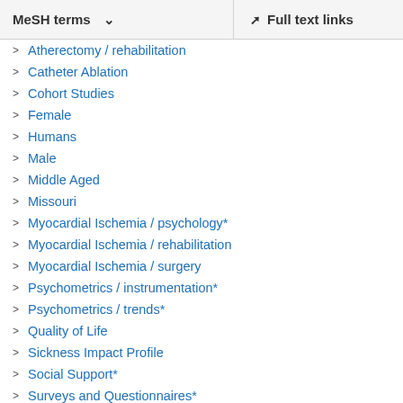MeSH terms   Full text links
Atherectomy / rehabilitation
Catheter Ablation
Cohort Studies
Female
Humans
Male
Middle Aged
Missouri
Myocardial Ischemia / psychology*
Myocardial Ischemia / rehabilitation
Myocardial Ischemia / surgery
Psychometrics / instrumentation*
Psychometrics / trends*
Quality of Life
Sickness Impact Profile
Social Support*
Surveys and Questionnaires*